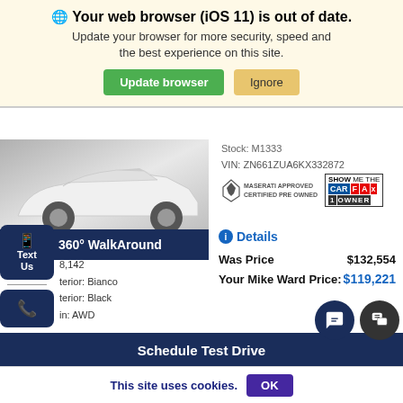Your web browser (iOS 11) is out of date. Update your browser for more security, speed and the best experience on this site.
Update browser | Ignore
Stock: M1333
VIN: ZN661ZUA6KX332872
[Figure (photo): White Maserati SUV front three-quarter view]
360° WalkAround
8,142
Interior: Bianco
Interior: Black
Drivetrain: AWD
Transmission: ZF 8-Speed Automatic
Engine: 3.8L V8 Twin Turbocharged
MPG: 18 HWY / 14 City
Details
Was Price
$132,554
Your Mike Ward Price:
$119,221
Schedule Test Drive
This site uses cookies.
OK